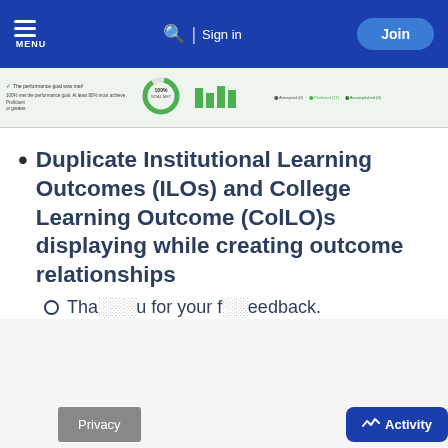MENU | Search | Sign in | Join
[Figure (screenshot): Partial screenshot of an educational assessment dashboard showing performance goal met text, a donut chart, a bar chart, and a legend with Attempted, Proficient, and Accomplished categories.]
Duplicate Institutional Learning Outcomes (ILOs) and College Learning Outcome (ColLO)s displaying while creating outcome relationships
Thank you for your feedback.